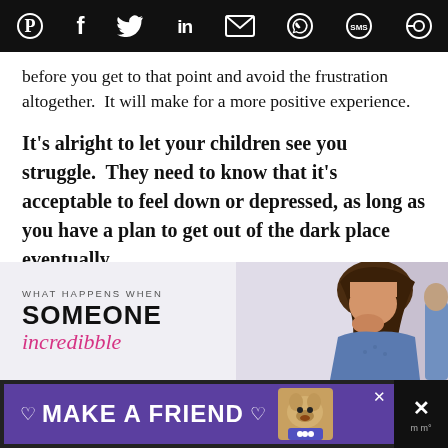[Social share icons: Pinterest, Facebook, Twitter, LinkedIn, Email, WhatsApp, SMS, Share]
before you get to that point and avoid the frustration altogether.  It will make for a more positive experience.
It’s alright to let your children see you struggle.  They need to know that it’s acceptable to feel down or depressed, as long as you have a plan to get out of the dark place eventually.
[Figure (infographic): Advertisement banner showing 'WHAT HAPPENS WHEN SOMEONE incredibble' text on left with photo of distressed woman on right]
[Figure (infographic): Purple advertisement bar reading MAKE A FRIEND with heart icon and dog photo, with X close button]